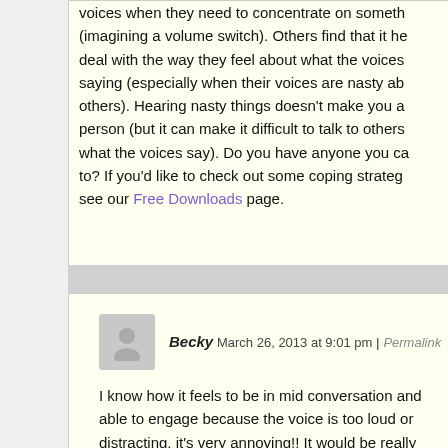voices when they need to concentrate on something (imagining a volume switch). Others find that it helps to deal with the way they feel about what the voices are saying (especially when their voices are nasty about others). Hearing nasty things doesn't make you a bad person (but it can make it difficult to talk to others about what the voices say). Do you have anyone you can talk to? If you'd like to check out some coping strategies, see our Free Downloads page.
Becky March 26, 2013 at 9:01 pm | Permalink
I know how it feels to be in mid conversation and not able to engage because the voice is too loud or distracting, it's very annoying!! It would be really interesting to hear someone's inner dialog I think doing that. My voices 'inside my head' can be very motivating, it's good to use that to your advantage things get easier for you.